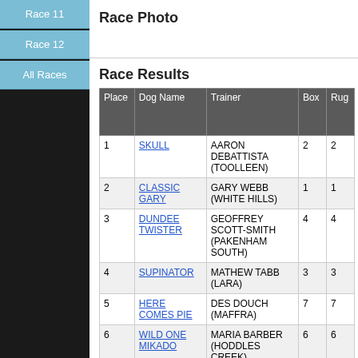Race 11
Race 12
All Races
Race Photo
Race Results
| Place | Dog Name | Trainer | Box | Rug |
| --- | --- | --- | --- | --- |
| 1 | SKULL | AARON DEBATTISTA (TOOLLEEN) | 2 | 2 |
| 2 | CLASSIC GARY | GARY WEBB (WHITE HILLS) | 1 | 1 |
| 3 | DUNDEE TWISTER | GEOFFREY SCOTT-SMITH (PAKENHAM SOUTH) | 4 | 4 |
| 4 | SUPINATOR | MATHEW TABB (LARA) | 3 | 3 |
| 5 | HERE COMES PIE | DES DOUCH (MAFFRA) | 7 | 7 |
| 6 | WILD ONE MIKADO | MARIA BARBER (HODDLES CREEK) | 6 | 6 |
| 7 | MYALL HIKER | RAYMOND GILMORE (Kilmany) | 5 | 5 |